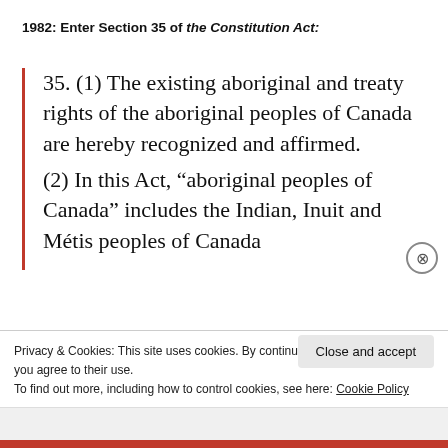1982: Enter Section 35 of the Constitution Act:
35. (1) The existing aboriginal and treaty rights of the aboriginal peoples of Canada are hereby recognized and affirmed.
(2) In this Act, “aboriginal peoples of Canada” includes the Indian, Inuit and Métis peoples of Canada.
Privacy & Cookies: This site uses cookies. By continuing to use this website, you agree to their use.
To find out more, including how to control cookies, see here: Cookie Policy